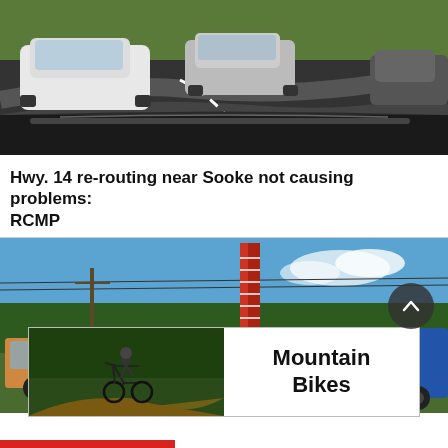[Figure (photo): Dashcam view of cars on a winding highway, white car and another vehicle on a dark asphalt road with a forest hill background. Dashcam windshield visible at bottom.]
Hwy. 14 re-routing near Sooke not causing problems: RCMP
[Figure (photo): Outdoor construction scene with a tall drill rig and blue equipment truck. Evergreen trees and blue sky with clouds in background. An advertisement banner overlay at bottom showing a mountain biker on left and 'Mountain Bikes' text on right.]
Mountain Bikes